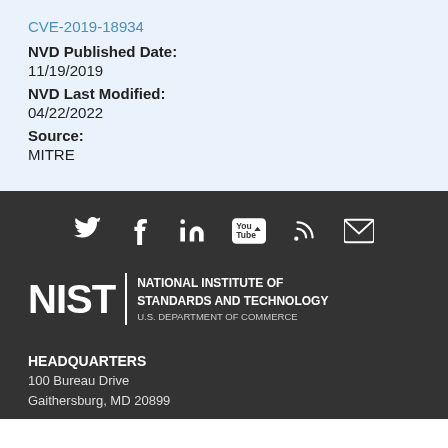CVE-2019-18934
NVD Published Date:
11/19/2019
NVD Last Modified:
04/22/2022
Source:
MITRE
[Figure (logo): Social media icons: Twitter, Facebook, LinkedIn, YouTube, RSS, Email]
[Figure (logo): NIST logo - National Institute of Standards and Technology, U.S. Department of Commerce]
HEADQUARTERS
100 Bureau Drive
Gaithersburg, MD 20899